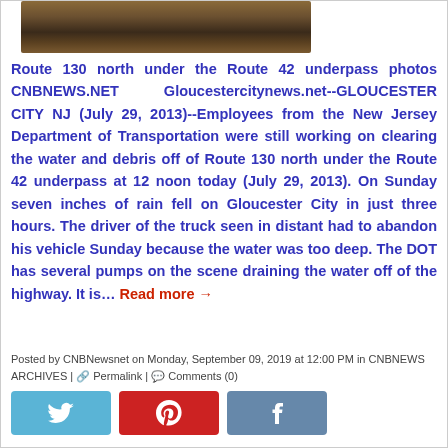[Figure (photo): Photo of Route 130 north under the Route 42 underpass, showing flooded roadway with muddy water and debris]
Route 130 north under the Route 42 underpass photos CNBNEWS.NET   Gloucestercitynews.net--GLOUCESTER CITY NJ (July 29, 2013)--Employees from the New Jersey Department of Transportation were still working on clearing the water and debris off of Route 130 north under the Route 42 underpass at 12 noon today (July 29, 2013). On Sunday seven inches of rain fell on Gloucester City in just three hours. The driver of the truck seen in distant had to abandon his vehicle Sunday because the water was too deep. The DOT has several pumps on the scene draining the water off of the highway. It is… Read more →
Posted by CNBNewsnet on Monday, September 09, 2019 at 12:00 PM in CNBNEWS ARCHIVES | Permalink | Comments (0)